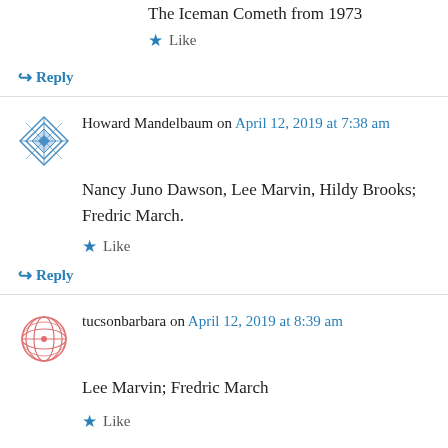The Iceman Cometh from 1973
Like
Reply
Howard Mandelbaum on April 12, 2019 at 7:38 am
Nancy Juno Dawson, Lee Marvin, Hildy Brooks; Fredric March.
Like
Reply
tucsonbarbara on April 12, 2019 at 8:39 am
Lee Marvin; Fredric March
Like